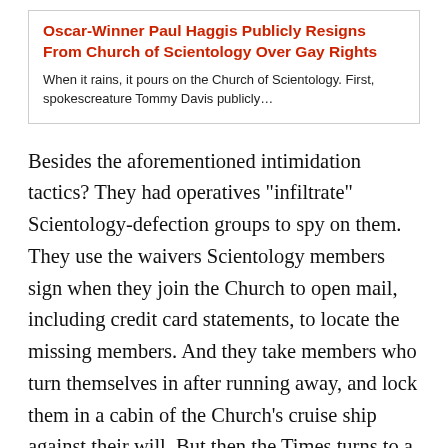Oscar-Winner Paul Haggis Publicly Resigns From Church of Scientology Over Gay Rights
When it rains, it pours on the Church of Scientology. First, spokescreature Tommy Davis publicly…
Besides the aforementioned intimidation tactics? They had operatives "infiltrate" Scientology-defection groups to spy on them. They use the waivers Scientology members sign when they join the Church to open mail, including credit card statements, to locate the missing members. And they take members who turn themselves in after running away, and lock them in a cabin of the Church's cruise ship against their will. But then the Times turns to a special story about the chef who cooked at the wedding of Tom Cruise and Nicole Kidman. It's a particularly chilling tale, but the short version is: the